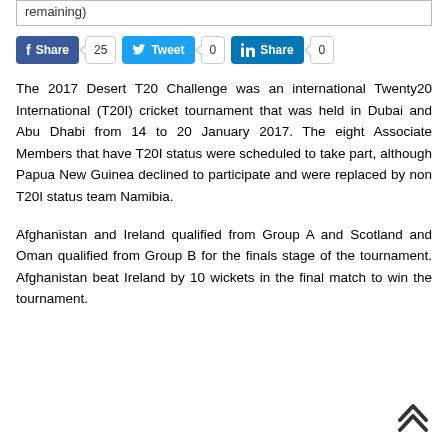[Figure (screenshot): Social share buttons bar showing Facebook Share (25), Tweet (0), LinkedIn Share (0)]
The 2017 Desert T20 Challenge was an international Twenty20 International (T20I) cricket tournament that was held in Dubai and Abu Dhabi from 14 to 20 January 2017. The eight Associate Members that have T20I status were scheduled to take part, although Papua New Guinea declined to participate and were replaced by non T20I status team Namibia.
Afghanistan and Ireland qualified from Group A and Scotland and Oman qualified from Group B for the finals stage of the tournament. Afghanistan beat Ireland by 10 wickets in the final match to win the tournament.